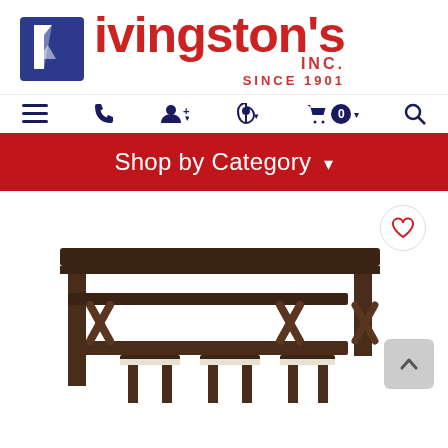[Figure (logo): Livingston's Inc. Since 1901 logo with blue L icon and red text]
[Figure (screenshot): Navigation bar with hamburger menu, phone, user, location, cart (0), and search icons]
Shop by Category ▾
[Figure (photo): Dark wood bar table with bench and stools product photo, partially visible]